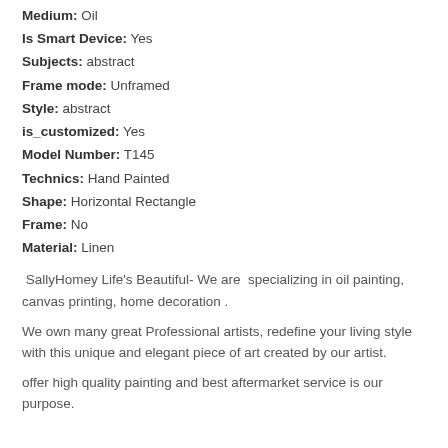Medium: Oil
Is Smart Device: Yes
Subjects: abstract
Frame mode: Unframed
Style: abstract
is_customized: Yes
Model Number: T145
Technics: Hand Painted
Shape: Horizontal Rectangle
Frame: No
Material: Linen
SallyHomey Life’s Beautiful- We are  specializing in oil painting, canvas printing, home decoration .
We own many great Professional artists, redefine your living style with this unique and elegant piece of art created by our artist.
offer high quality painting and best aftermarket service is our purpose.